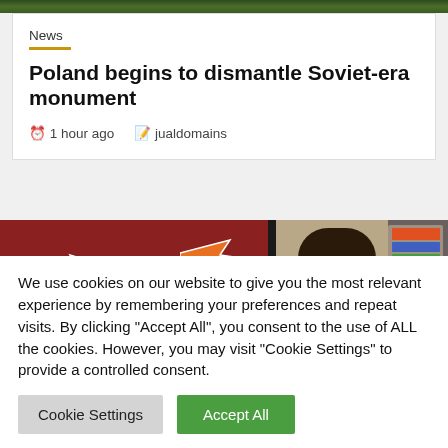[Figure (photo): Top strip of green foliage/trees image at very top of page]
News
Poland begins to dismantle Soviet-era monument
1 hour ago   jualdomains
[Figure (photo): Left half shows group photo of people in front of red curtain with orange arrows pointing at individuals; right half shows man with beard/mustache in front of bookshelves]
We use cookies on our website to give you the most relevant experience by remembering your preferences and repeat visits. By clicking "Accept All", you consent to the use of ALL the cookies. However, you may visit "Cookie Settings" to provide a controlled consent.